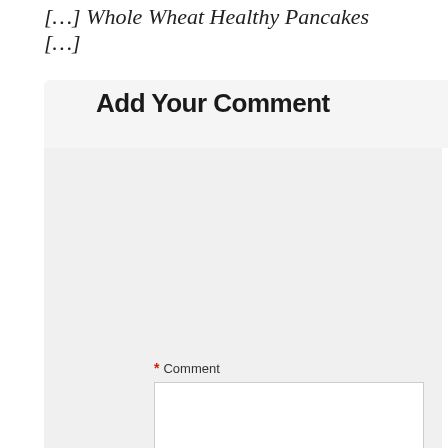[…] Whole Wheat Healthy Pancakes […]
Add Your Comment
* Comment
* Name
* Email
Website
Save my name, email, and